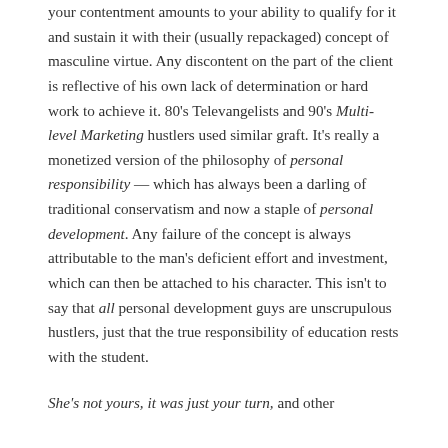your contentment amounts to your ability to qualify for it and sustain it with their (usually repackaged) concept of masculine virtue. Any discontent on the part of the client is reflective of his own lack of determination or hard work to achieve it. 80's Televangelists and 90's Multi-level Marketing hustlers used similar graft. It's really a monetized version of the philosophy of personal responsibility — which has always been a darling of traditional conservatism and now a staple of personal development. Any failure of the concept is always attributable to the man's deficient effort and investment, which can then be attached to his character. This isn't to say that all personal development guys are unscrupulous hustlers, just that the true responsibility of education rests with the student.
She's not yours, it was just your turn, and other